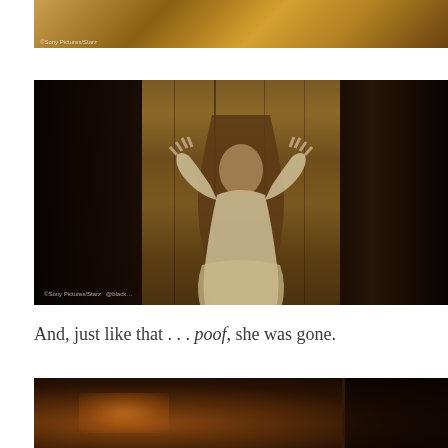[Figure (screenshot): Top film still showing a warm golden-brown scene, partially visible figure with watermark 'Sony Pictures/Starz' at bottom left]
[Figure (screenshot): Middle film still showing a woman in period costume with long hair pressing her hands against a large wooden surface, scene split into three panels (dark left, center wood texture, dark right), watermark 'Sony Pictures/Starz @blac...' at bottom left]
And, just like that . . . poof, she was gone.
[Figure (screenshot): Bottom film still showing a dark scene with orange-amber firelight glow on the left side and a dark panel divider on the right]